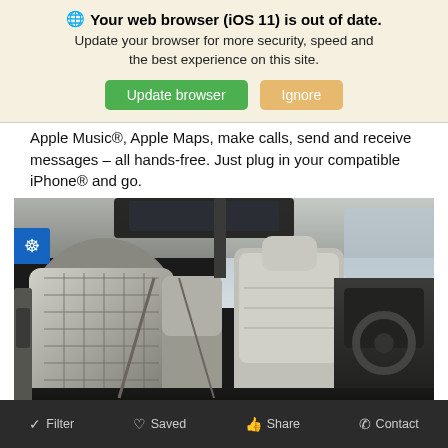🌐 Your web browser (iOS 11) is out of date. Update your browser for more security, speed and the best experience on this site. [Update browser] [Ignore]
Apple Music®, Apple Maps, make calls, send and receive messages – all hands-free. Just plug in your compatible iPhone® and go.
[Figure (photo): Car interior showing light gray leather seats with diamond quilting pattern, viewed from rear looking forward, with sunroof visible above and dashboard in background]
Filter   Saved   Share   Contact